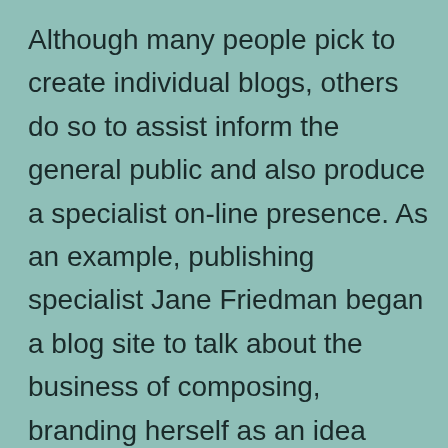Although many people pick to create individual blogs, others do so to assist inform the general public and also produce a specialist on-line presence. As an example, publishing specialist Jane Friedman began a blog site to talk about the business of composing, branding herself as an idea leader within the market. While blog writing has become a preferred leisure activity for numerous, it has likewise end up being an efficient advertising tool for business and also companies. A business blog site, on the other hand, has a tendency to concentrate on industry-related details as well as is usually run